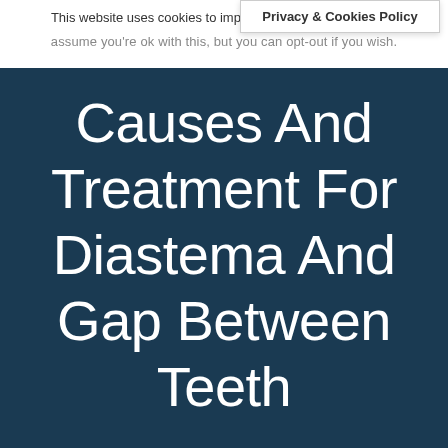This website uses cookies to improve your experience. We'll assume you're ok with this, but you can opt-out if you wish.
Privacy & Cookies Policy
Causes And Treatment For Diastema And Gap Between Teeth